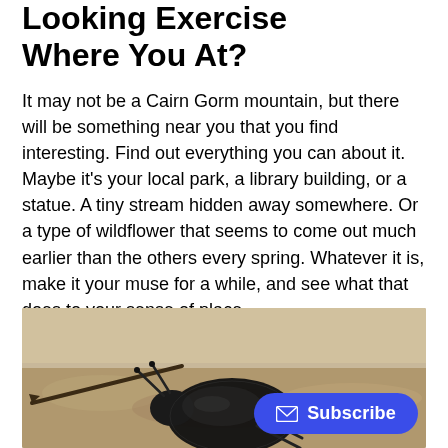Looking Exercise Where You At?
It may not be a Cairn Gorm mountain, but there will be something near you that you find interesting. Find out everything you can about it. Maybe it's your local park, a library building, or a statue. A tiny stream hidden away somewhere. Or a type of wildflower that seems to come out much earlier than the others every spring. Whatever it is, make it your muse for a while, and see what that does to your sense of place.
[Figure (photo): Close-up photo of a beetle or insect on a sandy/earthy surface, with a pointed stick or thorn visible, shot in macro style with shallow depth of field. A blue Subscribe button overlays the lower right of the image.]